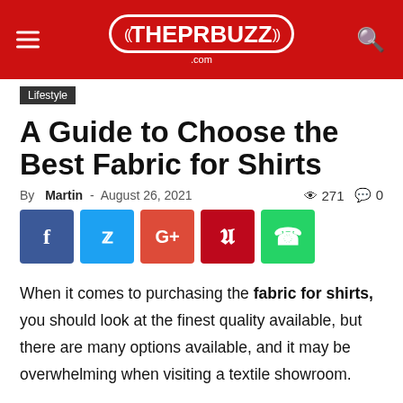THEPRBUZZ.com
Lifestyle
A Guide to Choose the Best Fabric for Shirts
By Martin - August 26, 2021  271  0
[Figure (other): Social share buttons: Facebook, Twitter, Google+, Pinterest, WhatsApp]
When it comes to purchasing the fabric for shirts, you should look at the finest quality available, but there are many options available, and it may be overwhelming when visiting a textile showroom.
When purchasing shirts, the following are some of the characteristics you should look for-